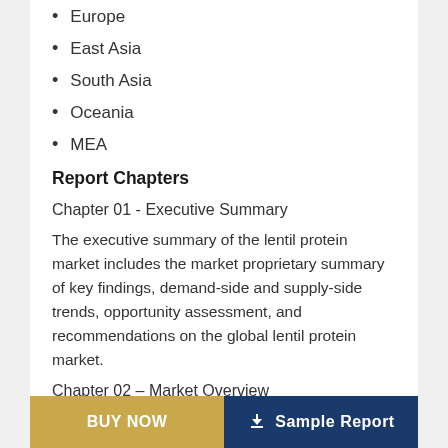Europe
East Asia
South Asia
Oceania
MEA
Report Chapters
Chapter 01 - Executive Summary
The executive summary of the lentil protein market includes the market proprietary summary of key findings, demand-side and supply-side trends, opportunity assessment, and recommendations on the global lentil protein market.
Chapter 02 – Market Overview
Readers can find the detailed segmentation and definition of the lentil protein market in this chapter, which will help them understand basic information about the lentil protein
BUY NOW   Sample Report